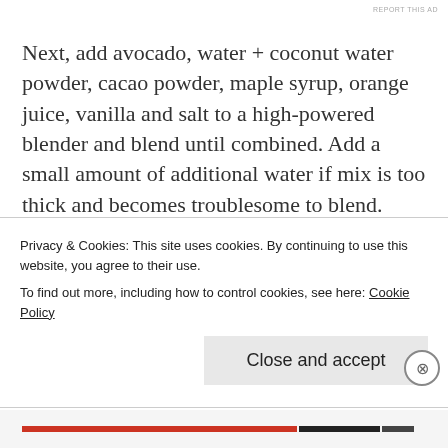REPORT THIS AD
Next, add avocado, water + coconut water powder, cacao powder, maple syrup, orange juice, vanilla and salt to a high-powered blender and blend until combined. Add a small amount of additional water if mix is too thick and becomes troublesome to blend.
Remove your bases from the freezer and pour the avocado on top, filling it just under the top of the tin rounds. Place in the freezer for around 2-3 hours (slightly longer if making 1 large tart).
Privacy & Cookies: This site uses cookies. By continuing to use this website, you agree to their use.
To find out more, including how to control cookies, see here: Cookie Policy
Close and accept
REPORT THIS AD